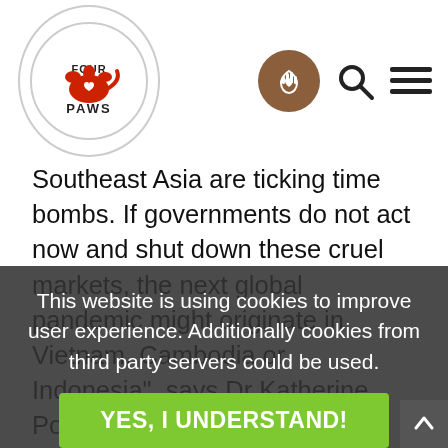FOUR PAWS logo and navigation icons
Southeast Asia are ticking time bombs. If governments do not act now and shut down these cruel markets, the next global pandemic might originate in Vietnam, Cambodia or Indonesia", says Dr Katherine Polak, veterinarian and head of FOUR PAWS Stray Animal Care in Southeast Asia.
Booming business despite pandemic
The World Health Organization (WHO) states that 70 per cent of global disease-causing pathogens discovered in the past 50 years came from animals, and COVID-19 is no different. Despite the public health risk such animal trades present, many dog and cat meat markets have seen that business has actually boomed during the pandemic. One seller in Cambodia told FOUR PAWS that those in
This website is using cookies to improve user experience. Additionally cookies from third party servers could be used.
YES, I UNDERSTAND!